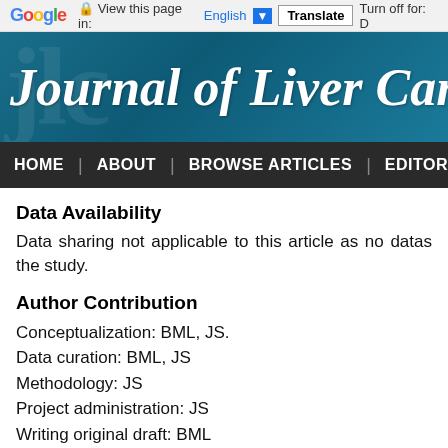Google  View this page in: English ▼  Translate  Turn off for: D
[Figure (screenshot): Journal of Liver Cancer website header banner with teal/blue gradient background and journal title in white italic serif font]
HOME | ABOUT | BROWSE ARTICLES | EDITORIAL PO
Data Availability
Data sharing not applicable to this article as no datas the study.
Author Contribution
Conceptualization: BML, JS.
Data curation: BML, JS
Methodology: JS
Project administration: JS
Writing original draft: BML
Writing review & editing: JS